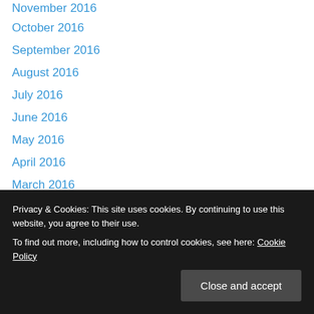November 2016
October 2016
September 2016
August 2016
July 2016
June 2016
May 2016
April 2016
March 2016
February 2016
January 2016
December 2015
November 2015
October 2015
September 2015
April 2015
Privacy & Cookies: This site uses cookies. By continuing to use this website, you agree to their use. To find out more, including how to control cookies, see here: Cookie Policy